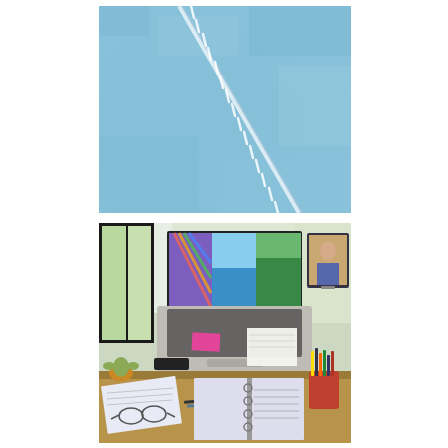[Figure (photo): Close-up photograph of denim jeans fabric showing a diagonal seam with stitching. The fabric is light blue denim with the seam running diagonally from upper-left to lower-right with white stitching visible.]
[Figure (photo): Overhead photograph of a home office desk showing a MacBook laptop with colorful travel photos on screen (rainbow, ocean, forest scenes), a pink sticky note and white notepad on the laptop, an open ring-binder planner and notebook below, a red pen/pencil cup on the right, eyeglasses and papers, a small Yoda figurine on the left, and a Lenovo tablet/monitor on the right side.]